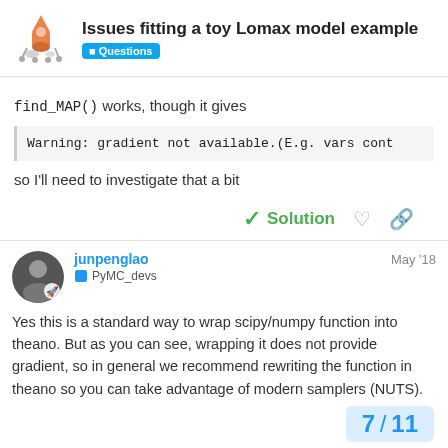Issues fitting a toy Lomax model example — Questions
find_MAP() works, though it gives
Warning: gradient not available.(E.g. vars cont
so I'll need to investigate that a bit
✓ Solution
junpenglao — May '18 — PyMC_devs
Yes this is a standard way to wrap scipy/numpy function into theano. But as you can see, wrapping it does not provide gradient, so in general we recommend rewriting the function in theano so you can take advantage of modern samplers (NUTS).
7 / 11